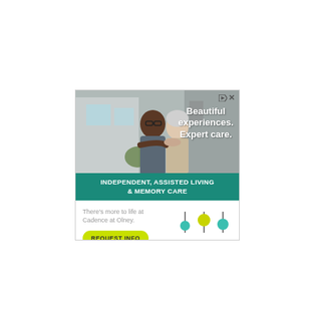[Figure (photo): Advertisement for Cadence Living Olney senior living community. Shows an older couple smiling outdoors (man of color embracing a white-haired woman). Overlay text reads 'Beautiful experiences. Expert care.' Teal banner below reads 'INDEPENDENT, ASSISTED LIVING & MEMORY CARE'. Bottom section has tagline 'There's more to life at Cadence at Olney.', a yellow-green REQUEST INFO button, and the Cadence Living Olney logo.]
Beautiful experiences. Expert care.
INDEPENDENT, ASSISTED LIVING & MEMORY CARE
There's more to life at Cadence at Olney.
REQUEST INFO
cadence — LIVING® — Olney